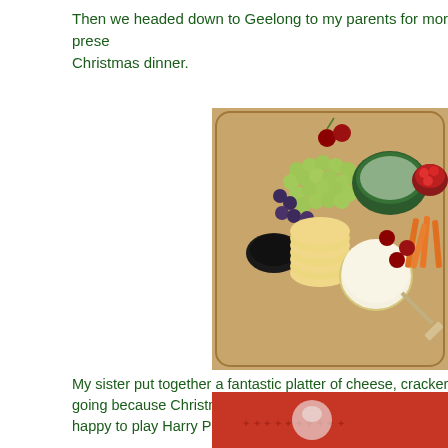Then we headed down to Geelong to my parents for more presents and Christmas dinner.
[Figure (photo): A wooden serving tray with a cheese and charcuterie platter featuring round crackers, a white brie-style cheese wheel, green and dark grapes, cherries, carrot sticks, small red peppers in a bowl, and a dark sauce in a small bowl. A green decorative bowl holds soft cheese with a serving utensil.]
My sister put together a fantastic platter of cheese, crackers and going because Christmas dinner is later than our usual lunch time happy to play Harry Potter Cluedo while they waited.
[Figure (photo): Partial view of a second photo showing a red background with what appears to be a cat or animal in a Harry Potter costume.]